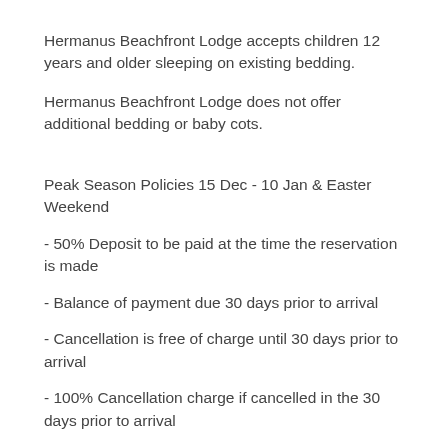Hermanus Beachfront Lodge accepts children 12 years and older sleeping on existing bedding.
Hermanus Beachfront Lodge does not offer additional bedding or baby cots.
Peak Season Policies 15 Dec - 10 Jan & Easter Weekend
- 50% Deposit to be paid at the time the reservation is made
- Balance of payment due 30 days prior to arrival
- Cancellation is free of charge until 30 days prior to arrival
- 100% Cancellation charge if cancelled in the 30 days prior to arrival